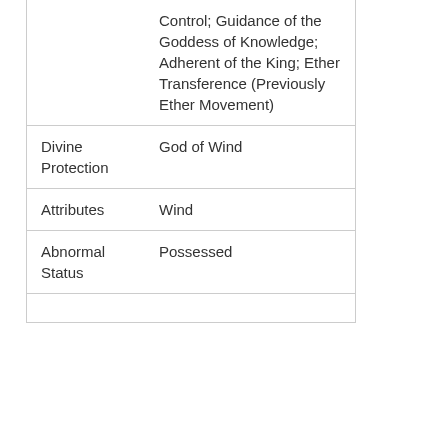|  | Control; Guidance of the Goddess of Knowledge; Adherent of the King; Ether Transference (Previously Ether Movement) |
| Divine Protection | God of Wind |
| Attributes | Wind |
| Abnormal Status | Possessed |
|  |  |